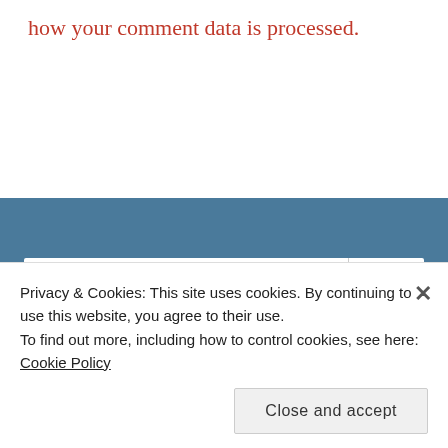how your comment data is processed.
[Figure (screenshot): Search bar on blue background with search icon]
[Figure (screenshot): Follow Learning From God's Word button with 1,032 followers count]
Privacy & Cookies: This site uses cookies. By continuing to use this website, you agree to their use. To find out more, including how to control cookies, see here: Cookie Policy
Close and accept